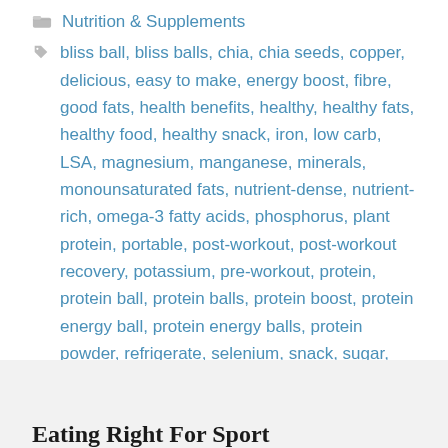Nutrition & Supplements
bliss ball, bliss balls, chia, chia seeds, copper, delicious, easy to make, energy boost, fibre, good fats, health benefits, healthy, healthy fats, healthy food, healthy snack, iron, low carb, LSA, magnesium, manganese, minerals, monounsaturated fats, nutrient-dense, nutrient-rich, omega-3 fatty acids, phosphorus, plant protein, portable, post-workout, post-workout recovery, potassium, pre-workout, protein, protein ball, protein balls, protein boost, protein energy ball, protein energy balls, protein powder, refrigerate, selenium, snack, sugar, sweet treat, vitamins
Leave a comment
Eating Right For Sport